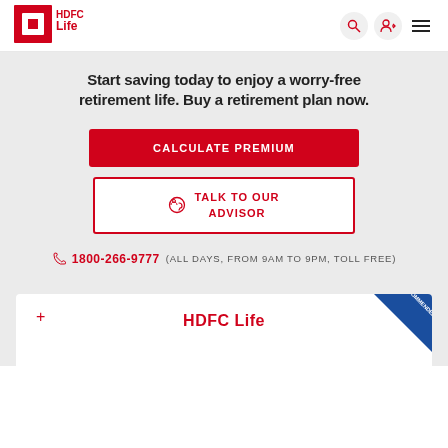[Figure (logo): HDFC Life logo with tagline 'Sar utha ke jiyo!']
Start saving today to enjoy a worry-free retirement life. Buy a retirement plan now.
CALCULATE PREMIUM
TALK TO OUR ADVISOR
1800-266-9777 (ALL DAYS, FROM 9AM TO 9PM, TOLL FREE)
HDFC Life